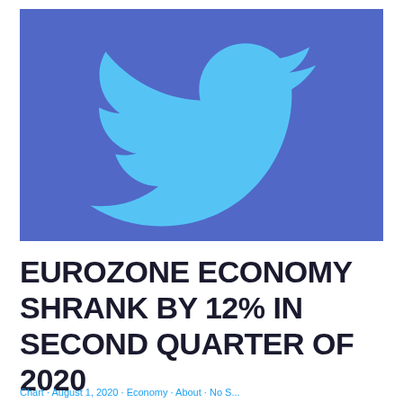[Figure (logo): Twitter bird logo in light blue on a medium blue/purple background (#5168c7). The white Twitter bird silhouette centered on the image.]
EUROZONE ECONOMY SHRANK BY 12% IN SECOND QUARTER OF 2020
Chart · August 1, 2020 · Economy · About · No S...